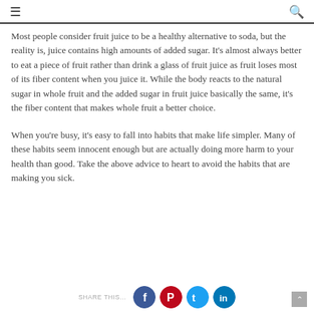≡  🔍
Most people consider fruit juice to be a healthy alternative to soda, but the reality is, juice contains high amounts of added sugar. It's almost always better to eat a piece of fruit rather than drink a glass of fruit juice as fruit loses most of its fiber content when you juice it. While the body reacts to the natural sugar in whole fruit and the added sugar in fruit juice basically the same, it's the fiber content that makes whole fruit a better choice.
When you're busy, it's easy to fall into habits that make life simpler. Many of these habits seem innocent enough but are actually doing more harm to your health than good. Take the above advice to heart to avoid the habits that are making you sick.
SHARE THIS...